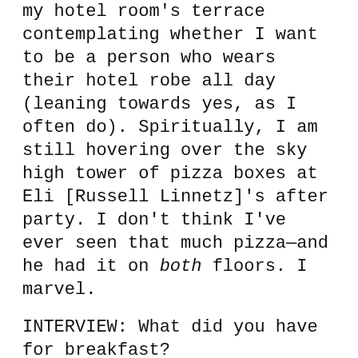my hotel room's terrace contemplating whether I want to be a person who wears their hotel robe all day (leaning towards yes, as I often do). Spiritually, I am still hovering over the sky high tower of pizza boxes at Eli [Russell Linnetz]'s after party. I don't think I've ever seen that much pizza—and he had it on both floors. I marvel.
INTERVIEW: What did you have for breakfast?
KATZ: First of all, appreciate you nudging me into that headspace. Here's what I plan to have. I'm gay, so I'll need to start the day with iced coffee. If